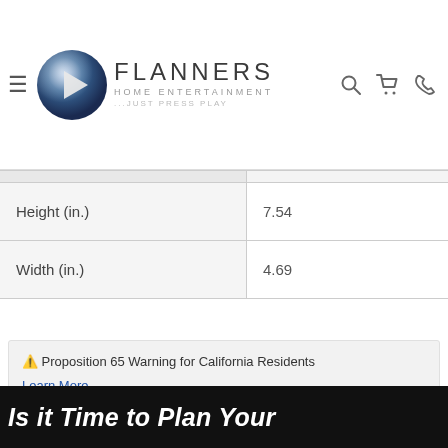Flanners Home Entertainment — Just Press Play
| Height (in.) | 7.54 |
| Width (in.) | 4.69 |
⚠ Proposition 65 Warning for California Residents
Learn More
Is it Time to Plan Your